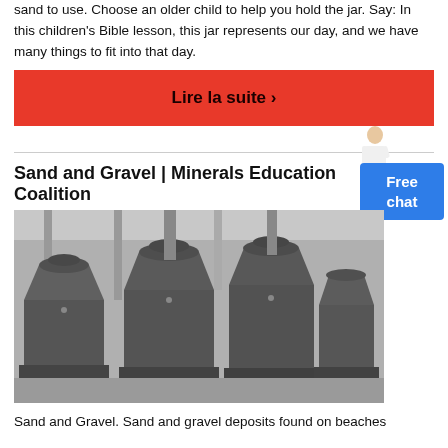sand to use. Choose an older child to help you hold the jar. Say: In this children's Bible lesson, this jar represents our day, and we have many things to fit into that day.
Lire la suite ›
Sand and Gravel | Minerals Education Coalition
[Figure (photo): Industrial sand and gravel processing machines (large metal cone-shaped mills) inside a factory warehouse.]
Sand and Gravel. Sand and gravel deposits found on beaches